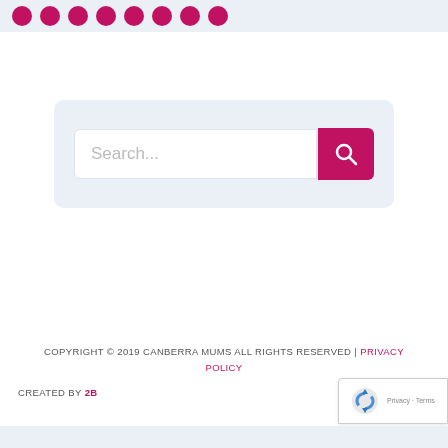[Figure (other): Row of pink circular icons/avatars in a light blue banner at the top]
[Figure (screenshot): Search bar with placeholder text 'Search...' and a pink search button with magnifying glass icon, inside a light blue rounded rectangle]
COPYRIGHT © 2019 CANBERRA MUMS ALL RIGHTS RESERVED | PRIVACY POLICY
CREATED BY 2B
[Figure (other): reCAPTCHA badge showing recycling-arrow logo, Privacy and Terms links]